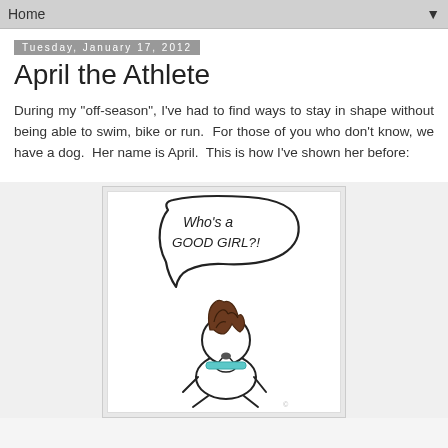Home
Tuesday, January 17, 2012
April the Athlete
During my "off-season", I've had to find ways to stay in shape without being able to swim, bike or run.  For those of you who don't know, we have a dog.  Her name is April.  This is how I've shown her before:
[Figure (illustration): A hand-drawn cartoon illustration of a dog (April) with a speech bubble saying 'Who's a GOOD GIRL?!' The dog has curly brown hair/fur on its head and is drawn in a simple, whimsical style with black outlines on white paper.]